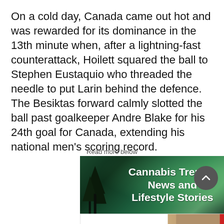On a cold day, Canada came out hot and was rewarded for its dominance in the 13th minute when, after a lightning-fast counterattack, Hoilett squared the ball to Stephen Eustaquio who threaded the needle to put Larin behind the defence. The Besiktas forward calmly slotted the ball past goalkeeper Andre Blake for his 24th goal for Canada, extending his national men's scoring record.
Read more below
[Figure (illustration): Advertisement banner for Cannabis Trends, News and Lifestyle Stories, featuring aurora borealis over dark trees background with white bold text.]
[Figure (illustration): Advertisement for Sims Furniture showing script logo, two people on a couch, and Bremner Street, Red Deer address on red background.]